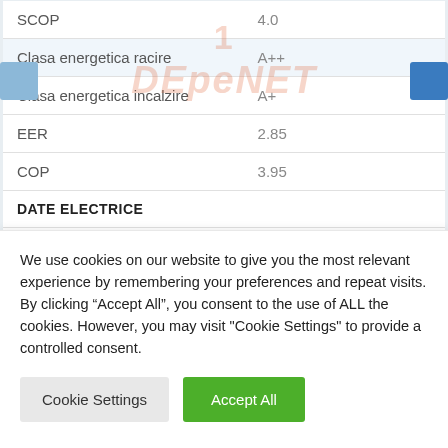| Property | Value |
| --- | --- |
| SCOP | 4.0 |
| Clasa energetica racire | A++ |
| Clasa energetica incalzire | A+ |
| EER | 2.85 |
| COP | 3.95 |
| DATE ELECTRICE |  |
| Alimentare electrica [V/Faza/Hz] | 230 / 1 / 50 |
We use cookies on our website to give you the most relevant experience by remembering your preferences and repeat visits. By clicking “Accept All”, you consent to the use of ALL the cookies. However, you may visit "Cookie Settings" to provide a controlled consent.